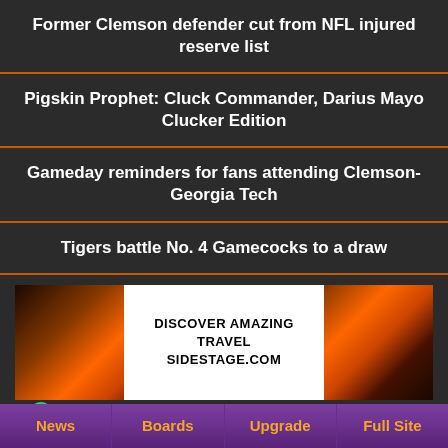Former Clemson defender cut from NFL injured reserve list
Pigskin Prophet: Cluck Commander, Darius Mayo Clucker Edition
Gameday reminders for fans attending Clemson-Georgia Tech
Tigers battle No. 4 Gamecocks to a draw
[Figure (other): Advertisement banner with sunset/coastal background images on left and right, white center box with text: DISCOVER AMAZING TRAVEL SIDESTAGE.COM, ezoic logo bottom left, report this ad bottom right]
News | Boards | Upgrade | Full Site